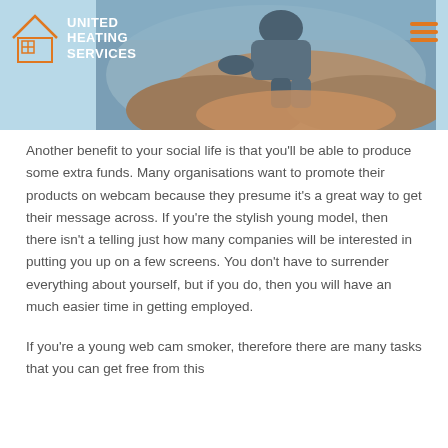United Heating Services
[Figure (photo): Overhead photo of a person working with earth/soil materials, appearing to do landscaping or excavation work]
Another benefit to your social life is that you'll be able to produce some extra funds. Many organisations want to promote their products on webcam because they presume it's a great way to get their message across. If you're the stylish young model, then there isn't a telling just how many companies will be interested in putting you up on a few screens. You don't have to surrender everything about yourself, but if you do, then you will have an much easier time in getting employed.
If you're a young web cam smoker, therefore there are many tasks that you can get free from this